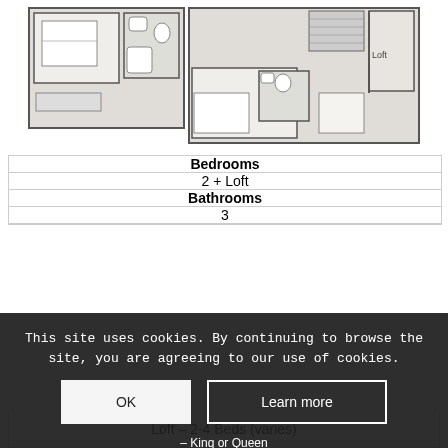[Figure (engineering-diagram): Floor plan showing 2-bedroom + loft apartment layout with bathrooms. Rooms shown include two bedrooms, bathrooms with fixtures, loft area labeled, and staircase. Drawn in architectural line style with grey fills.]
| Bedrooms |
| 2 + Loft |
| Bathrooms |
| 3 |
| Bedroom 1 – King or Queen |
| Bedroom 2 – 1-2 Beds (varies) |
| Loft – 2-4 Beds (varies) |
This site uses cookies. By continuing to browse the site, you are agreeing to our use of cookies.
OK
Learn more